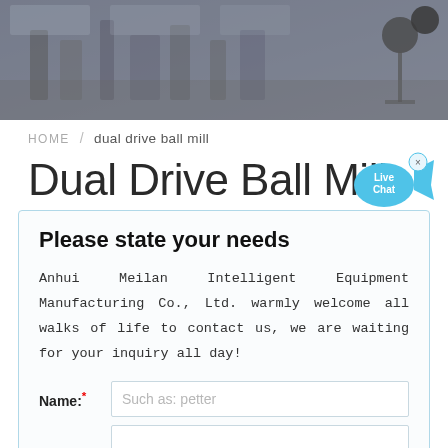[Figure (photo): Industrial factory floor with machinery and equipment, blurred background photo used as page header banner]
HOME / dual drive ball mill
Dual Drive Ball Mill
[Figure (infographic): Live Chat bubble icon in blue with 'Live Chat' text and an X close button]
Please state your needs
Anhui Meilan Intelligent Equipment Manufacturing Co., Ltd. warmly welcome all walks of life to contact us, we are waiting for your inquiry all day!
Name:* Such as: petter